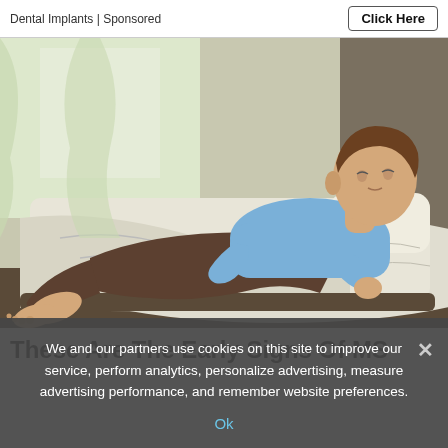Dental Implants | Sponsored    Click Here
[Figure (illustration): Illustrated drawing of a man lying on a bed on his back, wearing a blue long-sleeve shirt and dark brown pants, barefoot, with white bedding around him.]
These Are The Early Signs Of MS
We and our partners use cookies on this site to improve our service, perform analytics, personalize advertising, measure advertising performance, and remember website preferences.
Ok